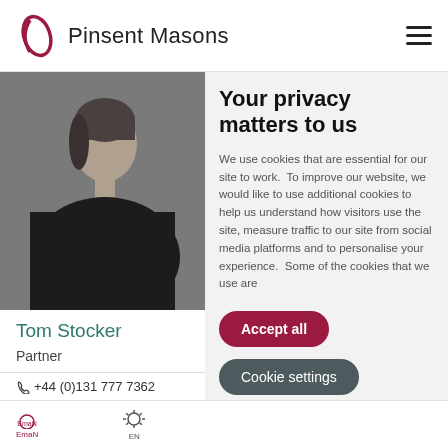[Figure (logo): Pinsent Masons logo with stylized leaf/oval icon in dark red and the text 'Pinsent Masons']
[Figure (photo): Black and white portrait photo of a person in a dark jacket against a grey background]
Your privacy matters to us
We use cookies that are essential for our site to work.  To improve our website, we would like to use additional cookies to help us understand how visitors use the site, measure traffic to our site from social media platforms and to personalise your experience.  Some of the cookies that we use are
Accept all
Cookie settings
Tom Stocker
Partner
+44 (0)131 777 7362